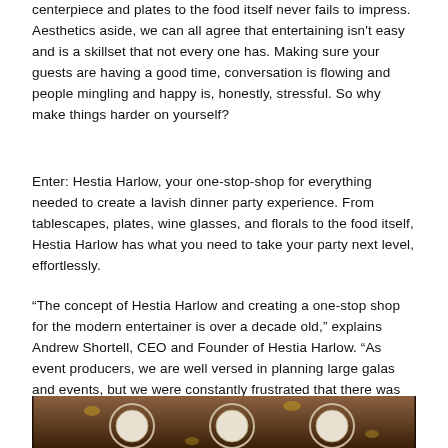centerpiece and plates to the food itself never fails to impress. Aesthetics aside, we can all agree that entertaining isn't easy and is a skillset that not every one has. Making sure your guests are having a good time, conversation is flowing and people mingling and happy is, honestly, stressful. So why make things harder on yourself?
Enter: Hestia Harlow, your one-stop-shop for everything needed to create a lavish dinner party experience. From tablescapes, plates, wine glasses, and florals to the food itself, Hestia Harlow has what you need to take your party next level, effortlessly.
“The concept of Hestia Harlow and creating a one-stop shop for the modern entertainer is over a decade old,” explains Andrew Shortell, CEO and Founder of Hestia Harlow. “As event producers, we are well versed in planning large galas and events, but we were constantly frustrated that there was not an aggregated platform to make small gatherings and dinner parties easy.”
[Figure (photo): Partial photograph of a dinner table setting showing decorative plates, glassware, and florals with a dark wooden background]